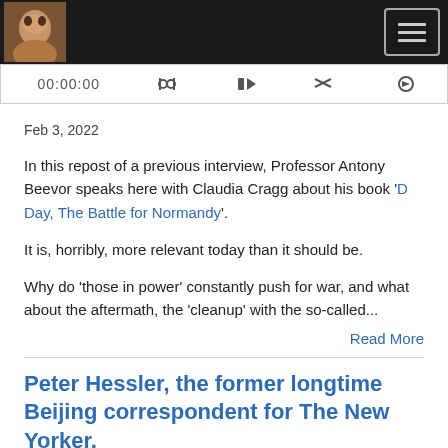[Figure (screenshot): Dark header bar with avatar photo on left and hamburger menu button on right]
[Figure (screenshot): Audio player bar showing 00:00:00 timestamp and playback controls]
Feb 3, 2022
In this repost of a previous interview, Professor Antony Beevor speaks here with Claudia Cragg about his book 'D Day, The Battle for Normandy'.
It is, horribly, more relevant today than it should be.
Why do 'those in power' constantly push for war, and what about the aftermath, the 'cleanup' with the so-called...
Read More
Peter Hessler, the former longtime Beijing correspondent for The New Yorker,
CHATCHAT - CLAUDIA CRAGG